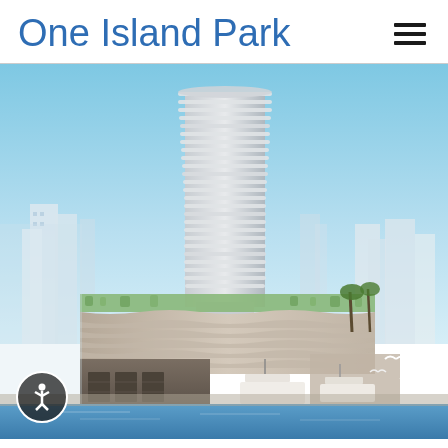One Island Park
[Figure (illustration): Architectural rendering of One Island Park — a tall modern residential tower with curved balconies rising above a wavy-facade podium building at a waterfront marina. Boats and seagulls visible in the foreground water, city skyline in background under blue sky.]